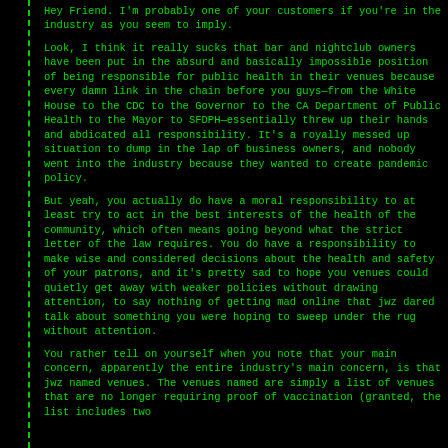Hey Friend. I'm probably one of your customers if you're in the industry as you seem to imply.
Look, I think it really sucks that bar and nightclub owners have been put in the absurd and basically impossible position of being responsible for public health in their venues because every damn link in the chain before you guys—from the White House to the CDC to the Governor to the CA Department of Public Health to the Mayor to SFDPH—essentially threw up their hands and abdicated all responsibility. It's a royally messed up situation to dump in the lap of business owners, and nobody went into the industry because they wanted to create pandemic policy.
But yeah, you actually do have a moral responsibility to at least try to act in the best interests of the health of the community, which often means going beyond what the strict letter of the law requires. You do have a responsibility to make wise and considered decisions about the health and safety of your patrons, and it's pretty sad to hope you venues could quietly get away with weaker policies without drawing attention, to say nothing of getting mad online that jwz dared talk about something you were hoping to sweep under the rug without attention.
You rather tell on yourself when you note that your main concern, apparently the entire industry's main concern, is that jwz named venues. The venues named are simply a list of venues that are no longer requiring proof of vaccination (granted, the list includes two